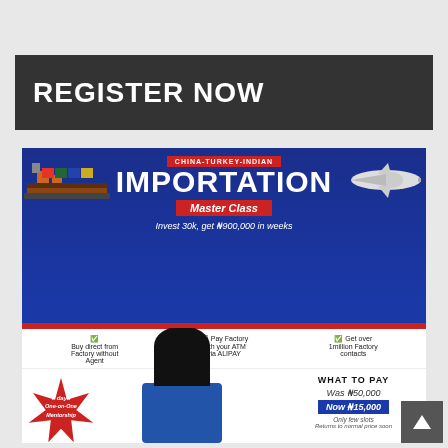REGISTER NOW
[Figure (infographic): China-Turkey-Indian Importation Master Class advertisement. Blue background with cargo ship and airplane images. Text: 'CHINA-TURKEY-INDIAN IMPORTATION Master Class - Invest 30k, get N900,000 in weeks'. Features: Buy direct from Factory without Agent, Pay Factory with your ATM via ALIPAY, Get over 1million Factory contacts. Star burst: 7 days One-on-One Mentorship. WHAT TO PAY: Was N50,000, Now N15,000. Only few slots - Returns to normal price soon. Image of a woman pointing.]